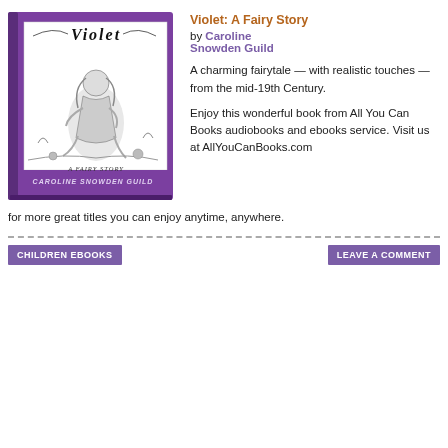[Figure (illustration): Book cover of 'Violet: A Fairy Story' by Caroline Snowden Guild. Purple cover with a black-and-white vintage illustration of a fairy girl seated outdoors. Title 'Violet' in decorative text at top, 'A Fairy Story' at bottom, author name 'Caroline Snowden Guild' at bottom in stylized white text.]
Violet: A Fairy Story
by Caroline Snowden Guild
A charming fairytale — with realistic touches — from the mid-19th Century.
Enjoy this wonderful book from All You Can Books audiobooks and ebooks service. Visit us at AllYouCanBooks.com for more great titles you can enjoy anytime, anywhere.
CHILDREN EBOOKS
LEAVE A COMMENT